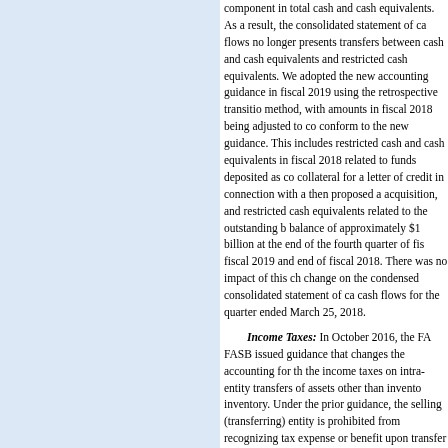component in total cash and cash equivalents. As a result, the consolidated statement of cash flows no longer presents transfers between cash and cash equivalents and restricted cash equivalents. We adopted the new accounting guidance in fiscal 2019 using the retrospective transition method, with amounts in fiscal 2018 being adjusted to conform to the new guidance. This includes restricted cash and cash equivalents in fiscal 2018 related to funds deposited as collateral for a letter of credit in connection with a then proposed acquisition, and restricted cash equivalents related to the outstanding balance of approximately $1 billion at the end of the fourth quarter of fiscal 2019 and end of fiscal 2018. There was no impact of this change on the condensed consolidated statement of cash flows for the quarter ended March 25, 2018.
Income Taxes: In October 2016, the FASB issued guidance that changes the accounting for the income taxes on intra-entity transfers of assets other than inventory. Under the prior guidance, the selling (transferring) entity is prohibited from recognizing tax expense or benefit upon transfer of the asset, and the buying (receiving) entity is required to recognize a prepaid tax asset or tax liability, as well as the related deferred tax based on the tax basis of the asset. We adopted the new accounting guidance in fiscal 2019 using the modified retrospective transition method, with the cumulative effect of applying the new accounting guidance as an adjustment to opening retained earnings of fiscal 2019, primarily as a result of establishing a deferred tax asset on the unamortized intellectual property distributed from one of our international subsidiary in the United States in fiscal 20...